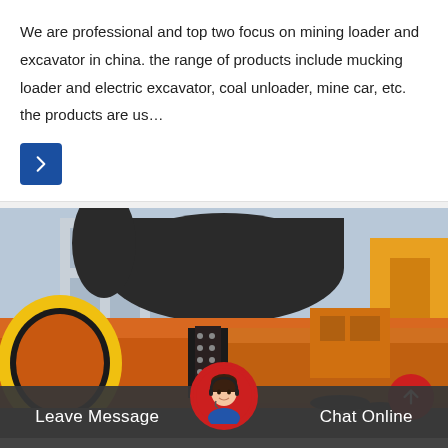We are professional and top two focus on mining loader and excavator in china. the range of products include mucking loader and electric excavator, coal unloader, mine car, etc. the products are us…
[Figure (photo): Industrial rotary drum/kiln equipment photographed outdoors. A large orange cylindrical drum with a yellow end ring is prominently visible in the foreground, with additional industrial machinery and a factory building in the background.]